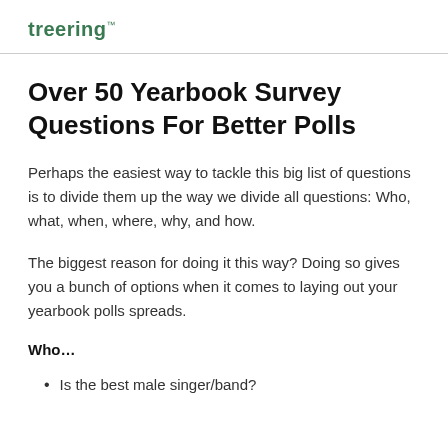treering
Over 50 Yearbook Survey Questions For Better Polls
Perhaps the easiest way to tackle this big list of questions is to divide them up the way we divide all questions: Who, what, when, where, why, and how.
The biggest reason for doing it this way? Doing so gives you a bunch of options when it comes to laying out your yearbook polls spreads.
Who…
Is the best male singer/band?